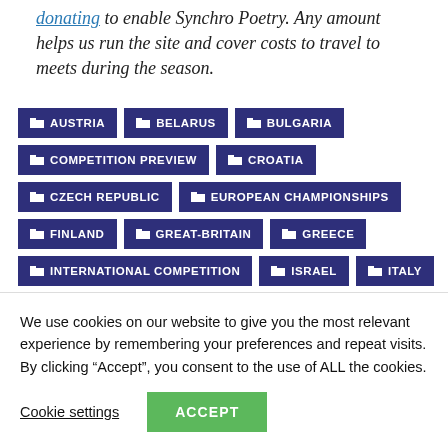run the site and cover costs to travel to meets during the season.
AUSTRIA
BELARUS
BULGARIA
COMPETITION PREVIEW
CROATIA
CZECH REPUBLIC
EUROPEAN CHAMPIONSHIPS
FINLAND
GREAT-BRITAIN
GREECE
INTERNATIONAL COMPETITION
ISRAEL
ITALY
RUSSIA
SAN MARINO
SLOVAKIA
SPAIN
We use cookies on our website to give you the most relevant experience by remembering your preferences and repeat visits. By clicking “Accept”, you consent to the use of ALL the cookies.
Cookie settings  ACCEPT